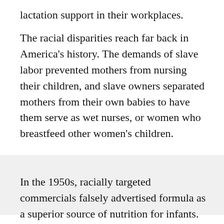lactation support in their workplaces.
The racial disparities reach far back in America's history. The demands of slave labor prevented mothers from nursing their children, and slave owners separated mothers from their own babies to have them serve as wet nurses, or women who breastfeed other women's children.
[Figure (other): Gray background image/photo block]
In the 1950s, racially targeted commercials falsely advertised formula as a superior source of nutrition for infants. And studies continue to show, Black mothers are more likely to receive in-hospital